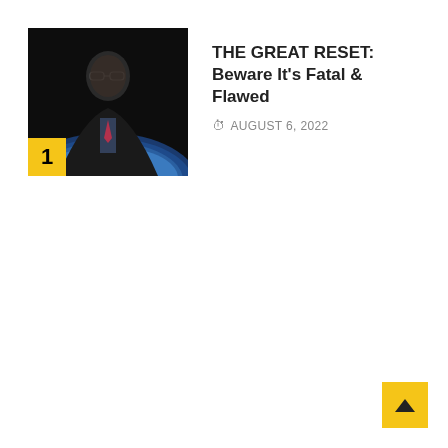[Figure (photo): Portrait photo of an elderly man in a suit with glasses against a dark background, with the Earth visible in the lower portion. A yellow badge with '1' is overlaid at the bottom left.]
THE GREAT RESET: Beware It's Fatal & Flawed
AUGUST 6, 2022